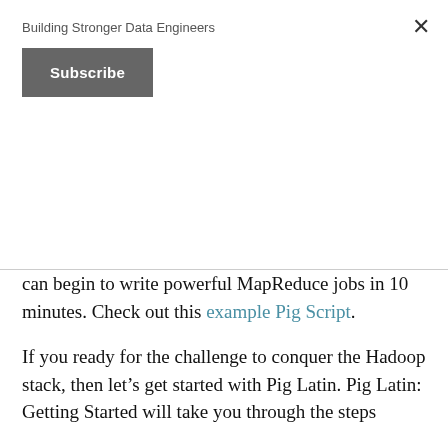Building Stronger Data Engineers
Subscribe
can begin to write powerful MapReduce jobs in 10 minutes. Check out this example Pig Script.
If you ready for the challenge to conquer the Hadoop stack, then let’s get started with Pig Latin. Pig Latin: Getting Started will take you through the steps
Setting up a Hadoop development environment
Comparing Java MapReduce to Pig